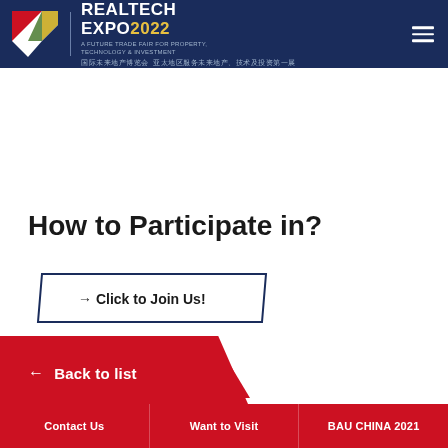[Figure (logo): RealTech Expo 2022 logo with geometric R icon, text REALTECH EXPO2022, subtitle A FUTURE TRADE FAIR FOR PROPERTY, TECHNOLOGY & INVESTMENT, Chinese text below]
How to Participate in?
→ Click to Join Us!
← Back to list
Contact Us | Want to Visit | BAU CHINA 2021